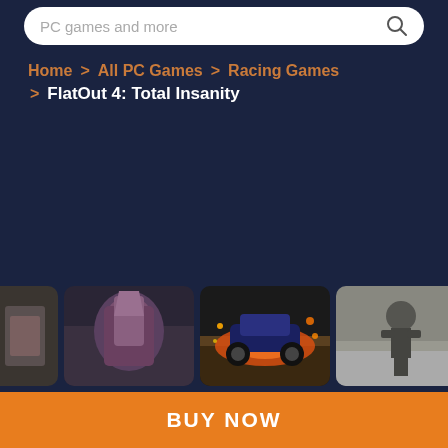PC games and more
Home > All PC Games > Racing Games > FlatOut 4: Total Insanity
[Figure (screenshot): Row of game screenshot thumbnails showing racing/action game scenes from FlatOut 4: Total Insanity]
BUY NOW